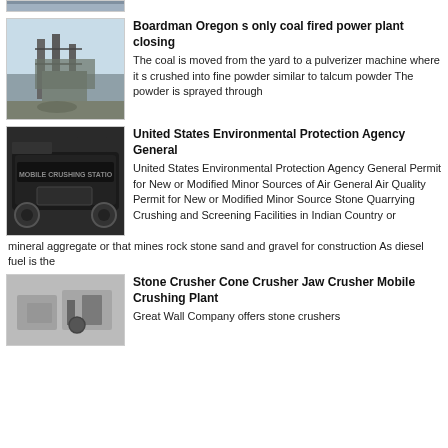[Figure (photo): Partial top image of industrial structure, cropped]
Boardman Oregon s only coal fired power plant closing
The coal is moved from the yard to a pulverizer machine where it s crushed into fine powder similar to talcum powder The powder is sprayed through
[Figure (photo): Mobile crushing station vehicle/machine indoors]
United States Environmental Protection Agency General
United States Environmental Protection Agency General Permit for New or Modified Minor Sources of Air General Air Quality Permit for New or Modified Minor Source Stone Quarrying Crushing and Screening Facilities in Indian Country or mineral aggregate or that mines rock stone sand and gravel for construction As diesel fuel is the
[Figure (photo): Stone crusher machinery with dust/debris]
Stone Crusher Cone Crusher Jaw Crusher Mobile Crushing Plant
Great Wall Company offers stone crushers